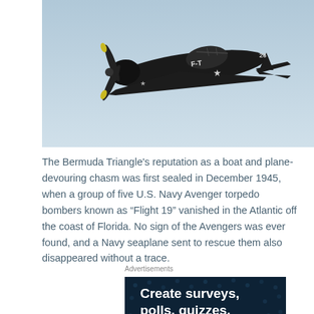[Figure (photo): A dark/black U.S. Navy Avenger torpedo bomber aircraft flying against a light blue sky, with markings 'F-T' and a star insignia visible on the fuselage.]
The Bermuda Triangle's reputation as a boat and plane-devouring chasm was first sealed in December 1945, when a group of five U.S. Navy Avenger torpedo bombers known as “Flight 19” vanished in the Atlantic off the coast of Florida. No sign of the Avengers was ever found, and a Navy seaplane sent to rescue them also disappeared without a trace.
Advertisements
[Figure (screenshot): Advertisement banner with dark navy background and white bold text reading 'Create surveys, polls, quizzes, and f...' with decorative dot pattern.]